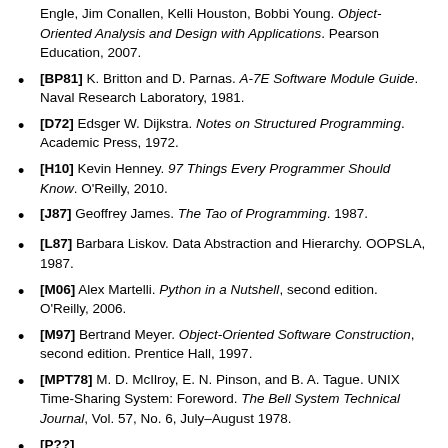[BM07] Grady Booch, Robert Maksimchuk, Michael Engle, Jim Conallen, Kelli Houston, Bobbi Young. Object-Oriented Analysis and Design with Applications. Pearson Education, 2007.
[BP81] K. Britton and D. Parnas. A-7E Software Module Guide. Naval Research Laboratory, 1981.
[D72] Edsger W. Dijkstra. Notes on Structured Programming. Academic Press, 1972.
[H10] Kevin Henney. 97 Things Every Programmer Should Know. O'Reilly, 2010.
[J87] Geoffrey James. The Tao of Programming. 1987.
[L87] Barbara Liskov. Data Abstraction and Hierarchy. OOPSLA, 1987.
[M06] Alex Martelli. Python in a Nutshell, second edition. O'Reilly, 2006.
[M97] Bertrand Meyer. Object-Oriented Software Construction, second edition. Prentice Hall, 1997.
[MPT78] M. D. McIlroy, E. N. Pinson, and B. A. Tague. UNIX Time-Sharing System: Foreword. The Bell System Technical Journal, Vol. 57, No. 6, July–August 1978.
[P??] ...